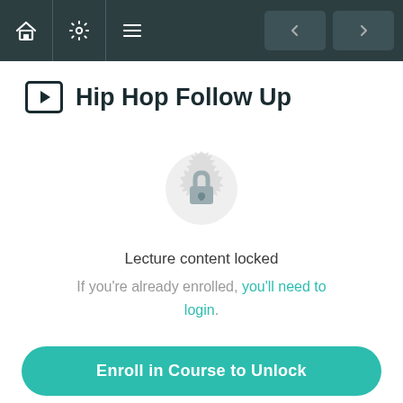Hip Hop Follow Up — navigation bar with home, settings, menu icons and prev/next arrows
Hip Hop Follow Up
[Figure (illustration): Lock icon centered inside a decorative circular gear/mandala shape, indicating locked content]
Lecture content locked
If you're already enrolled, you'll need to login.
Enroll in Course to Unlock